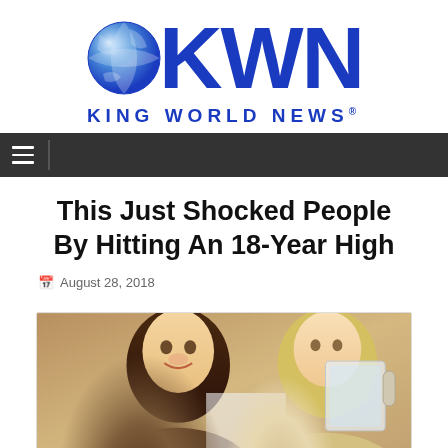[Figure (logo): KWN King World News logo with globe graphic and blue letters]
KING WORLD NEWS®
This Just Shocked People By Hitting An 18-Year High
August 28, 2018
[Figure (photo): Two young women, one smiling at camera and one drinking from a large glass mug]